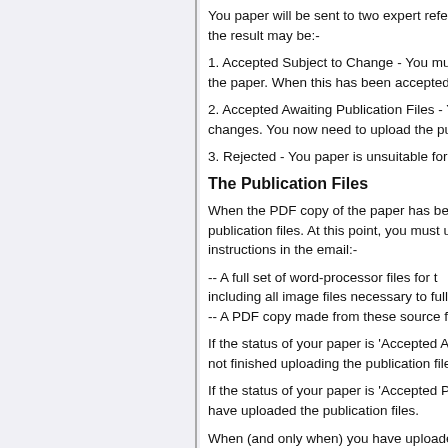You paper will be sent to two expert refe... the result may be:-
1. Accepted Subject to Change - You must... the paper. When this has been accepted yo...
2. Accepted Awaiting Publication Files - Yo... changes. You now need to upload the publ...
3. Rejected - You paper is unsuitable for th...
The Publication Files
When the PDF copy of the paper has been... publication files. At this point, you must u... instructions in the email:-
-- A full set of word-processor files for t... including all image files necessary to fully r...
-- A PDF copy made from these source files...
If the status of your paper is 'Accepted Aw... not finished uploading the publication files.
If the status of your paper is 'Accepted P... have uploaded the publication files.
When (and only when) you have uploaded... paper is 'Accepted Publication Files Received' you are finished!